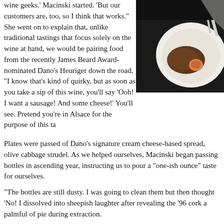wine geeks.' Macinski started. 'But our customers are, too, so I think that works.' She went on to explain that, unlike traditional tastings that focus solely on the wine at hand, we would be pairing food from the recently James Beard Award-nominated Dano's Heuriger down the road. 'I know that's kind of quirky, but as soon as you take a sip of this wine, you'll say 'Ooh! I want a sausage! And some cheese!' You'll see. Pretend you're in Alsace for the purpose of this ta
[Figure (photo): A plate of food including sausages, eggs, and other items on a white plate]
Plates were passed of Dano's signature cream cheese-based spread, olive cabbage strudel. As we helped ourselves, Macinski began passing bottles in ascending year, instructing us to pour a 'one-ish ounce' taste for ourselves.
'The bottles are still dusty. I was going to clean them but then thought 'No! I dissolved into sheepish laughter after revealing the '96 cork a palmful of pie during extraction.
The oldest three vintages were closed with natural cork - and all suffered th the '06, '08 an made use of a Nomacorc, and the '09 made use of a technic cork is favored by Standing Stone because they believe most of their custo immediate consumption. 'This number will shock you, but 98% of wine purc within 24 hours,' Macinski said. 'Knowing that, we didn't want our customer broken natural corks.' Still, Macinski worries that the Nomacorc is allowing e